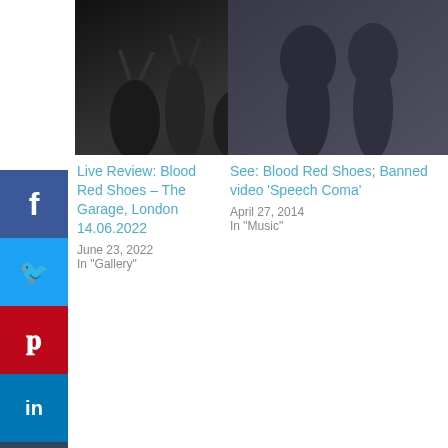[Figure (photo): Black and white concert crowd photo, people with raised arms]
Live Review: Blood Red Shoes – The Garage, London 14.06.2022
June 23, 2022
In "Gallery"
[Figure (photo): Two musicians, dark moody portrait, Blood Red Shoes]
See: Blood Red Shoes; Banned video 'Speech Coma'
April 27, 2014
In "Music"
[Figure (photo): Live at Leeds festival banner - black background with red AT LEEDS text, SATURDAY 3rd - SUNDAY 4th M...]
Live Review: Live at Leeds, Blood Red Shoes. Cockpit. 2.5.2014
[Figure (infographic): Tally app advertisement: Fast credit card payoff, Download Now button]
infolinks